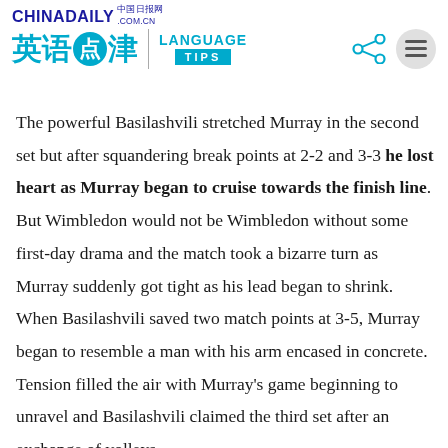CHINADAILY 中国日报网 .COM.CN 英语点津 | LANGUAGE TIPS
The powerful Basilashvili stretched Murray in the second set but after squandering break points at 2-2 and 3-3 he lost heart as Murray began to cruise towards the finish line. But Wimbledon would not be Wimbledon without some first-day drama and the match took a bizarre turn as Murray suddenly got tight as his lead began to shrink. When Basilashvili saved two match points at 3-5, Murray began to resemble a man with his arm encased in concrete. Tension filled the air with Murray's game beginning to unravel and Basilashvili claimed the third set after an exchange of volleys.